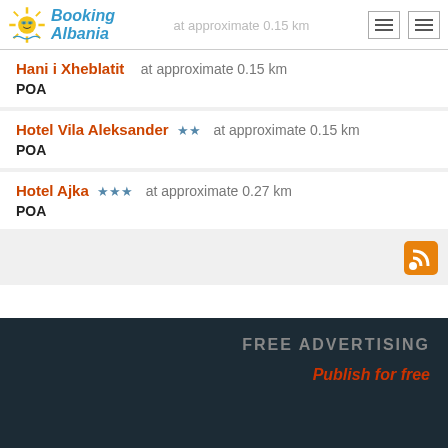Booking Albania
Hani i Xheblatit — at approximate 0.15 km — POA
Hotel Vila Aleksander ★★ at approximate 0.15 km — POA
Hotel Ajka ★★★ at approximate 0.27 km — POA
FREE ADVERTISING
Publish for free